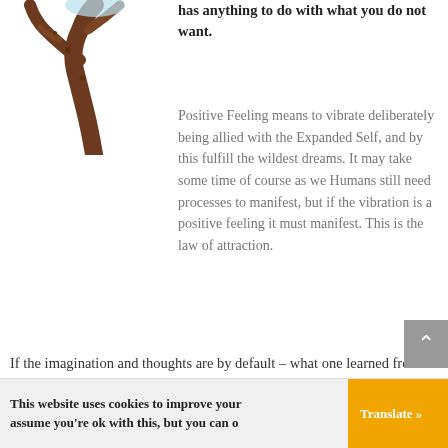[Figure (illustration): A brown tree branch/trunk illustration against a white background, showing the upper portion of a bare tree with forked branches.]
has anything to do with what you do not want.
Positive Feeling means to vibrate deliberately being allied with the Expanded Self, and by this fulfill the wildest dreams. It may take some time of course as we Humans still need processes to manifest, but if the vibration is a positive feeling it must manifest. This is the law of attraction.
If the imagination and thoughts are by default – what one learned from parents, schools or experiences, it can be sometimes positive and sometimes negative. But it is not really intentional. To manifest by these means is struggle and it brings some desired results, however often for the price of stress, illness and exhaustion, because one is separated from the Expanded Self. With the approach of
This website uses cookies to improve your ... assume you're ok with this, but you can o...
Translate »